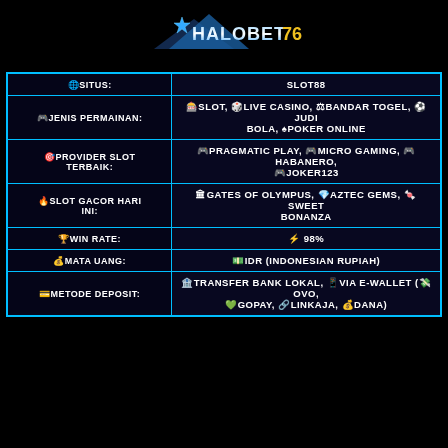[Figure (logo): HALOBET76 logo with star and mountain design in blue/silver/gold on black background]
| 🌐SITUS: | SLOT88 |
| 🎮JENIS PERMAINAN: | 🎰SLOT, 🎲LIVE CASINO, ⚖BANDAR TOGEL, ⚽JUDI BOLA, ♠POKER ONLINE |
| 🎯PROVIDER SLOT TERBAIK: | 🎮PRAGMATIC PLAY, 🎮MICRO GAMING, 🎮HABANERO, 🎮JOKER123 |
| 🔥SLOT GACOR HARI INI: | 🏛GATES OF OLYMPUS, 💎AZTEC GEMS, 🍬SWEET BONANZA |
| 🏆WIN RATE: | ⚡ 98% |
| 💰MATA UANG: | 💵IDR (INDONESIAN RUPIAH) |
| 💳METODE DEPOSIT: | 🏦TRANSFER BANK LOKAL, 📱VIA E-WALLET (💸OVO, 💚GOPAY, 🔗LINKAJA, 💰DANA) |